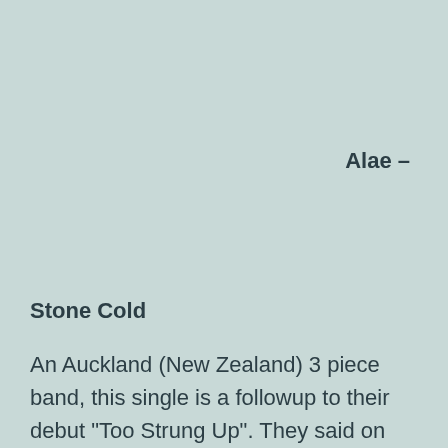Alae –
Stone Cold
An Auckland (New Zealand) 3 piece band, this single is a followup to their debut “Too Strung Up”. They said on the NZ Music site: